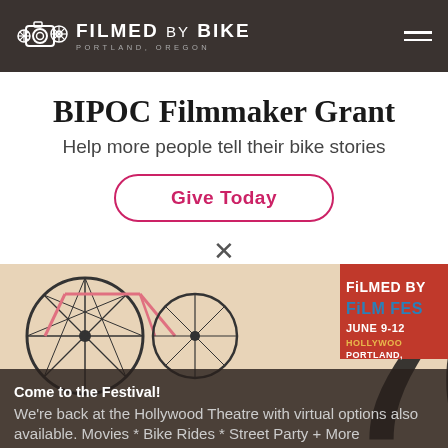FILMED BY BIKE — PORTLAND, OREGON
BIPOC Filmmaker Grant
Help more people tell their bike stories
Give Today
[Figure (screenshot): Filmed by Bike Film Festival promotional banner showing bicycles and festival branding with text: Come to the Festival! — We're back at the Hollywood Theatre with virtual options also available. Movies * Bike Rides * Street Party + More]